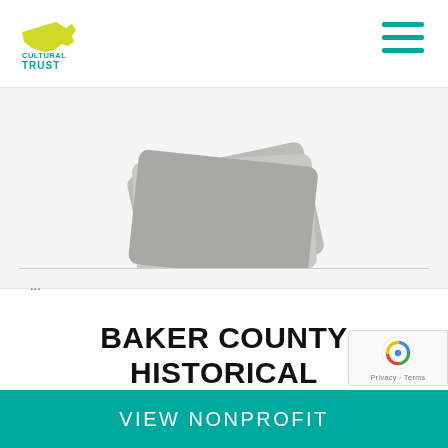[Figure (logo): Oregon Cultural Trust logo with green Oregon state shape and yellow-green text reading CULTURAL TRUST]
[Figure (illustration): Stylized gray overlapping card or ticket shapes arranged diagonally, like stacked membership cards or gift cards]
BAKER COUNTY HISTORICAL SOCIETY
...
VIEW NONPROFIT